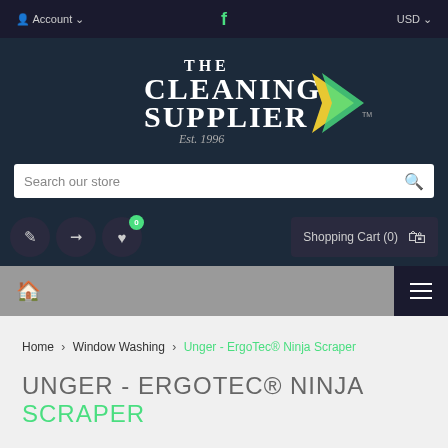Account ∨    f    USD ∨
[Figure (logo): The Cleaning Supplier logo with decorative yellow and green checkmark graphic, Est. 1996]
Search our store
Shopping Cart (0)
Home > Window Washing > Unger - ErgoTec® Ninja Scraper
UNGER - ERGOTEC® NINJA SCRAPER